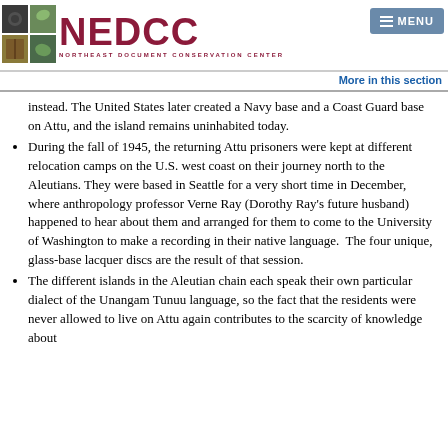[Figure (logo): NEDCC Northeast Document Conservation Center logo with small photo tiles on the left and red text on the right]
≡ MENU
More in this section
instead. The United States later created a Navy base and a Coast Guard base on Attu, and the island remains uninhabited today.
During the fall of 1945, the returning Attu prisoners were kept at different relocation camps on the U.S. west coast on their journey north to the Aleutians. They were based in Seattle for a very short time in December, where anthropology professor Verne Ray (Dorothy Ray's future husband) happened to hear about them and arranged for them to come to the University of Washington to make a recording in their native language.  The four unique, glass-base lacquer discs are the result of that session.
The different islands in the Aleutian chain each speak their own particular dialect of the Unangam Tunuu language, so the fact that the residents were never allowed to live on Attu again contributes to the scarcity of knowledge about